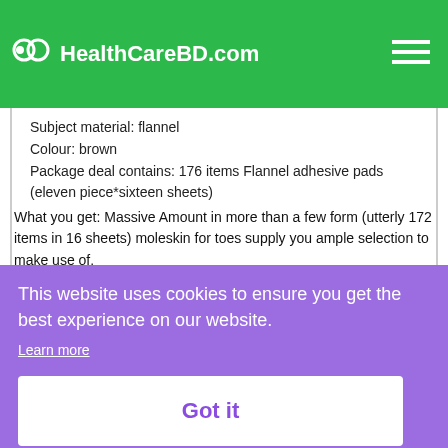HealthCareBD.com
Subject material: flannel
Colour: brown
Package deal contains: 176 items Flannel adhesive pads (eleven piece*sixteen sheets)
What you get: Massive Amount in more than a few form (utterly 172 items in 16 sheets) moleskin for toes supply you ample selection to make use of.
Use Simply: No scissors wanted. Simply get rid of the form you need off after which paste it the place you need to stick.
[Figure (screenshot): Cookie consent banner with purple background reading 'This website uses cookies to ensure you get the best experience on our website.' with 'Learn more' link and 'Got it' button.]